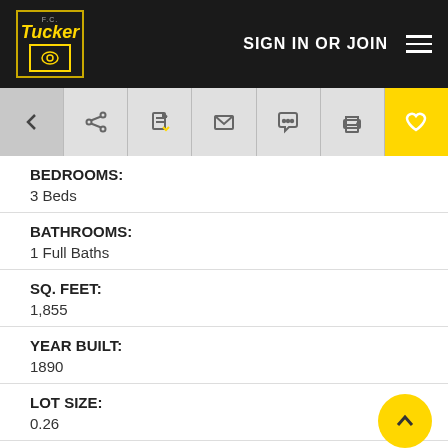F.C. Tucker | SIGN IN OR JOIN
[Figure (screenshot): Navigation toolbar with back arrow, share, document, email, chat, print, and favorite (heart) icons]
BEDROOMS: 3 Beds
BATHROOMS: 1 Full Baths
SQ. FEET: 1,855
YEAR BUILT: 1890
LOT SIZE: 0.26
COUNTY: Whitley County